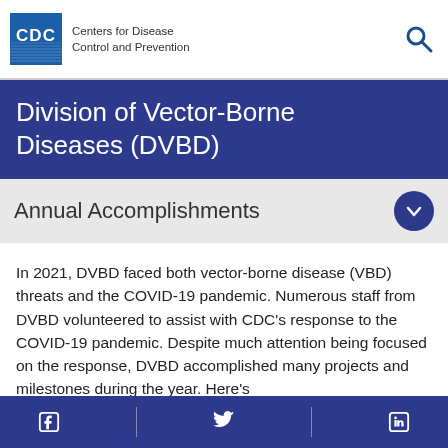Centers for Disease Control and Prevention
Division of Vector-Borne Diseases (DVBD)
Annual Accomplishments
In 2021, DVBD faced both vector-borne disease (VBD) threats and the COVID-19 pandemic. Numerous staff from DVBD volunteered to assist with CDC's response to the COVID-19 pandemic. Despite much attention being focused on the response, DVBD accomplished many projects and milestones during the year. Here's
Facebook   Twitter   LinkedIn